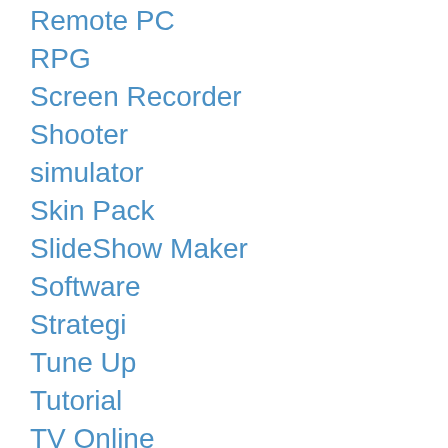Remote PC
RPG
Screen Recorder
Shooter
simulator
Skin Pack
SlideShow Maker
Software
Strategi
Tune Up
Tutorial
TV Online
Uncategorized
Vid…